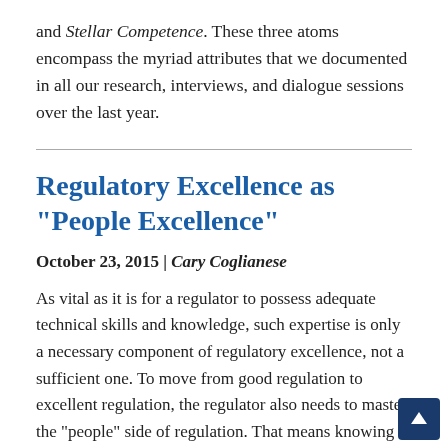and Stellar Competence. These three atoms encompass the myriad attributes that we documented in all our research, interviews, and dialogue sessions over the last year.
Regulatory Excellence as “People Excellence”
October 23, 2015  |  Cary Coglianese
As vital as it is for a regulator to possess adequate technical skills and knowledge, such expertise is only a necessary component of regulatory excellence, not a sufficient one. To move from good regulation to excellent regulation, the regulator also needs to master the “people” side of regulation. That means knowing